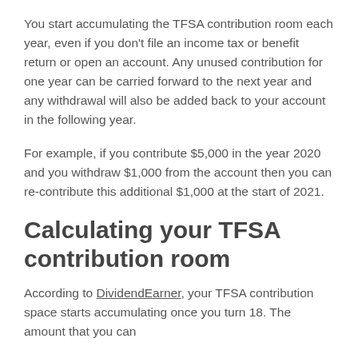You start accumulating the TFSA contribution room each year, even if you don't file an income tax or benefit return or open an account. Any unused contribution for one year can be carried forward to the next year and any withdrawal will also be added back to your account in the following year.
For example, if you contribute $5,000 in the year 2020 and you withdraw $1,000 from the account then you can re-contribute this additional $1,000 at the start of 2021.
Calculating your TFSA contribution room
According to DividendEarner, your TFSA contribution space starts accumulating once you turn 18. The amount that you can